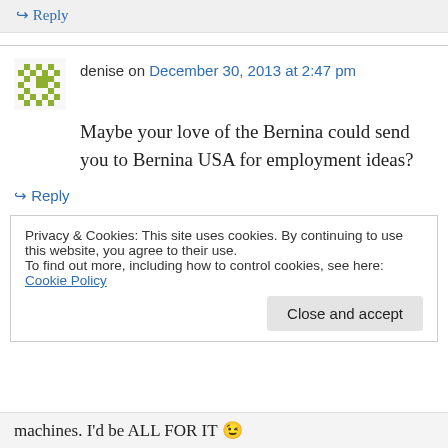↪ Reply
denise on December 30, 2013 at 2:47 pm
Maybe your love of the Bernina could send you to Bernina USA for employment ideas?
↪ Reply
Privacy & Cookies: This site uses cookies. By continuing to use this website, you agree to their use. To find out more, including how to control cookies, see here: Cookie Policy
Close and accept
machines. I'd be ALL FOR IT 😉